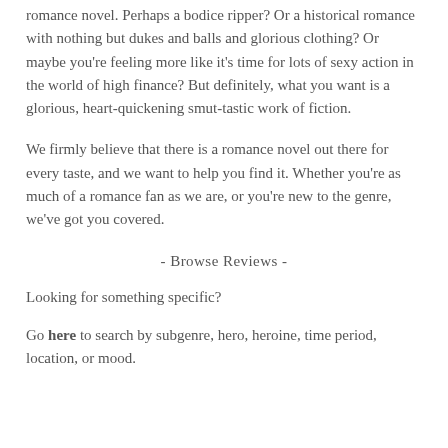romance novel. Perhaps a bodice ripper? Or a historical romance with nothing but dukes and balls and glorious clothing? Or maybe you’re feeling more like it’s time for lots of sexy action in the world of high finance? But definitely, what you want is a glorious, heart-quickening smut-tastic work of fiction.
We firmly believe that there is a romance novel out there for every taste, and we want to help you find it. Whether you’re as much of a romance fan as we are, or you’re new to the genre, we’ve got you covered.
- Browse Reviews -
Looking for something specific?
Go here to search by subgenre, hero, heroine, time period, location, or mood.